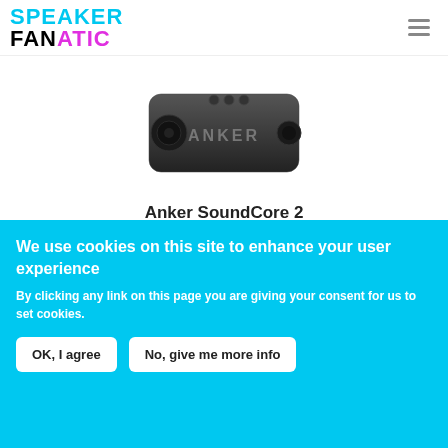Speaker Fanatic
[Figure (photo): Product photo of Anker SoundCore 2 Bluetooth speaker, black rectangular speaker with 'ANKER' text on front grille]
Anker SoundCore 2
at Amazon
BUY
We use cookies on this site to enhance your user experience
By clicking any link on this page you are giving your consent for us to set cookies.
OK, I agree
No, give me more info